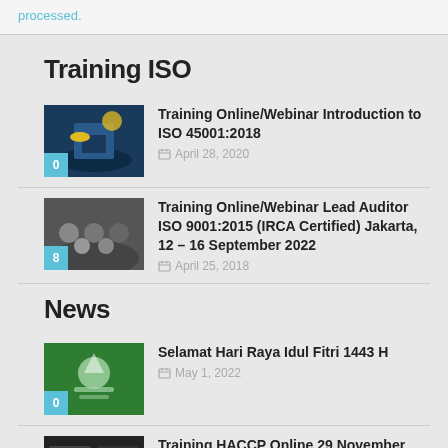processed.
Training ISO
[Figure (photo): Industrial site with yellow hard hat and lights]
Training Online/Webinar Introduction to ISO 45001:2018
April 28, 2020
[Figure (photo): Group of people in meeting/audience]
Training Online/Webinar Lead Auditor ISO 9001:2015 (IRCA Certified) Jakarta, 12 – 16 September 2022
April 25, 2018
News
[Figure (photo): Eid Mubarak greeting card with mosque and decorations]
Selamat Hari Raya Idul Fitri 1443 H
May 1, 2022
[Figure (photo): People in training/webinar screenshot]
Training HACCP Online 29 November 2021